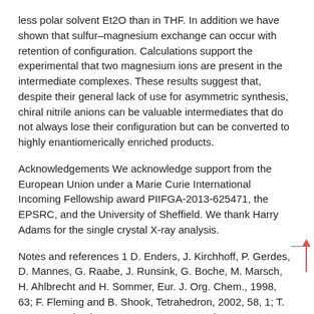less polar solvent Et2O than in THF. In addition we have shown that sulfur–magnesium exchange can occur with retention of configuration. Calculations support the experimental that two magnesium ions are present in the intermediate complexes. These results suggest that, despite their general lack of use for asymmetric synthesis, chiral nitrile anions can be valuable intermediates that do not always lose their configuration but can be converted to highly enantiomerically enriched products.
Acknowledgements We acknowledge support from the European Union under a Marie Curie International Incoming Fellowship award PIIFGA-2013-625471, the EPSRC, and the University of Sheffield. We thank Harry Adams for the single crystal X-ray analysis.
Notes and references 1 D. Enders, J. Kirchhoff, P. Gerdes, D. Mannes, G. Raabe, J. Runsink, G. Boche, M. Marsch, H. Ahlbrecht and H. Sommer, Eur. J. Org. Chem., 1998, 63; F. Fleming and B. Shook, Tetrahedron, 2002, 58, 1; T. Opatz, Synthesis, 2009, 1941; N. Otto and T. Opatz, Chem.–Eur. J., 2014, 20, 13064; R. L′opez and C. Palomo, Angew. Chem.,